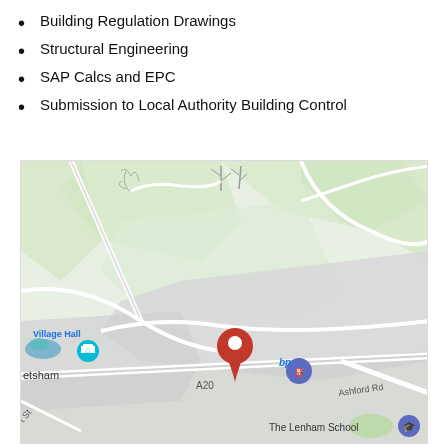Building Regulation Drawings
Structural Engineering
SAP Calcs and EPC
Submission to Local Authority Building Control
[Figure (map): Google Maps screenshot showing a location pin (red) near Lenham, Kent, with village hall marker (teal), bp fuel station marker (purple), A20 road, Ashford Rd, The Lenham School label, and surrounding green fields/rural area.]